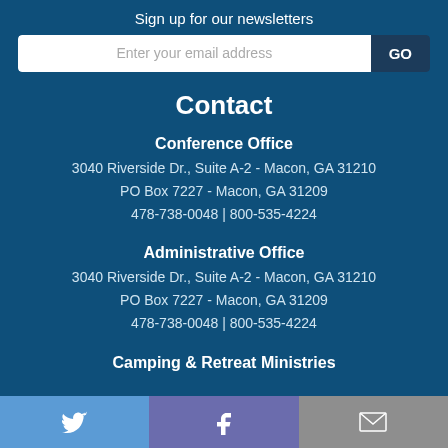Sign up for our newsletters
[Figure (other): Email input field with placeholder 'Enter your email address' and a GO button]
Contact
Conference Office
3040 Riverside Dr., Suite A-2 - Macon, GA 31210
PO Box 7227 - Macon, GA 31209
478-738-0048 | 800-535-4224
Administrative Office
3040 Riverside Dr., Suite A-2 - Macon, GA 31210
PO Box 7227 - Macon, GA 31209
478-738-0048 | 800-535-4224
Camping & Retreat Ministries
[Figure (other): Social media footer bar with Twitter (blue), Facebook (purple), and Email (gray) icons]